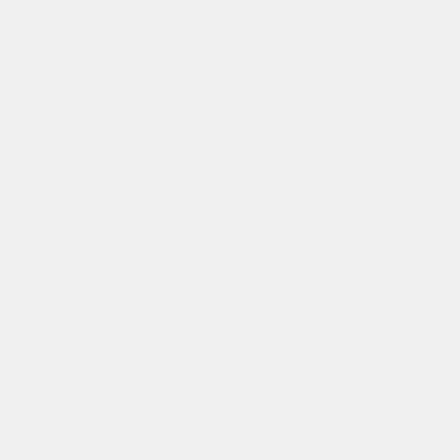Anabolic Steroid Forums — Log in  Register
Hello, please REGISTER and become a member of our community! You will then be able to start threads, post comments and send messages to other members. Thanks!
< Source Checking & Discussion
Severe delays with Granabolic
BillyGman · May 7, 2022
BillyGman
Registered Member
This site uses cookies to help personalise content, tailor your experience and to keep you logged in if you register. By continuing to use this site, you are consenting to our use of cookies.